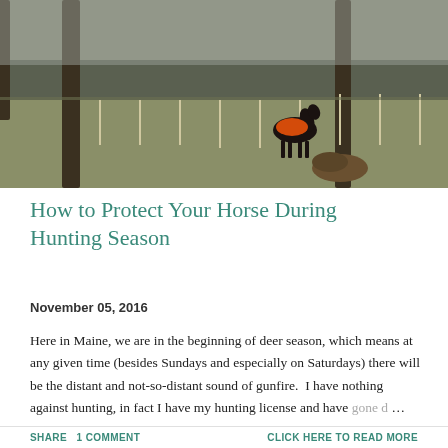[Figure (photo): A dark horse wearing an orange safety vest stands in a large grassy field with fence posts and sparse trees in late autumn.]
How to Protect Your Horse During Hunting Season
November 05, 2016
Here in Maine, we are in the beginning of deer season, which means at any given time (besides Sundays and especially on Saturdays) there will be the distant and not-so-distant sound of gunfire.  I have nothing against hunting, in fact I have my hunting license and have gone d… …
SHARE  1 COMMENT     CLICK HERE TO READ MORE